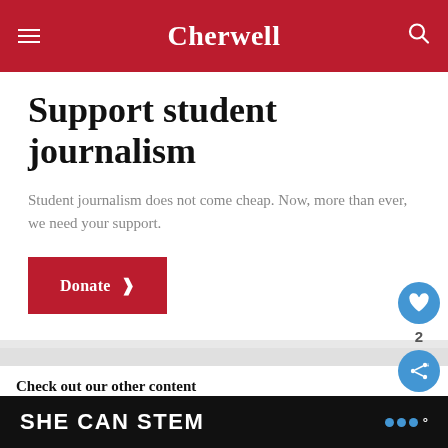Cherwell
Support student journalism
Student journalism does not come cheap. Now, more than ever, we need your support.
Donate ›
Check out our other content
Flora's Fringe Guide
SHE CAN STEM